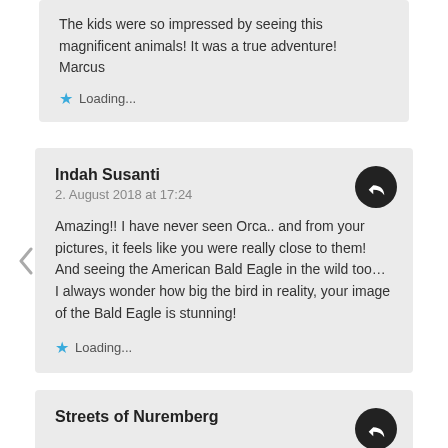The kids were so impressed by seeing this magnificent animals! It was a true adventure!
Marcus
Loading...
Indah Susanti
2. August 2018 at 17:24
Amazing!! I have never seen Orca.. and from your pictures, it feels like you were really close to them! And seeing the American Bald Eagle in the wild too… I always wonder how big the bird in reality, your image of the Bald Eagle is stunning!
Loading...
Streets of Nuremberg